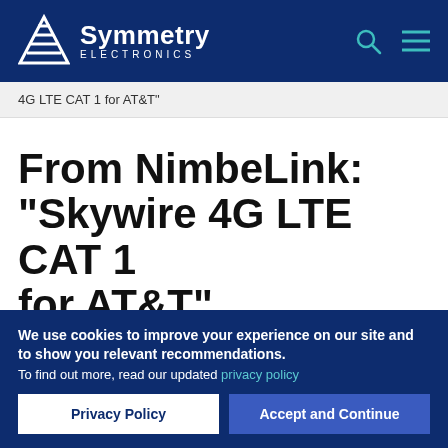Symmetry Electronics
4G LTE CAT 1 for AT&T"
From NimbeLink: "Skywire 4G LTE CAT 1 for AT&T"
We use cookies to improve your experience on our site and to show you relevant recommendations. To find out more, read our updated privacy policy
Privacy Policy   Accept and Continue